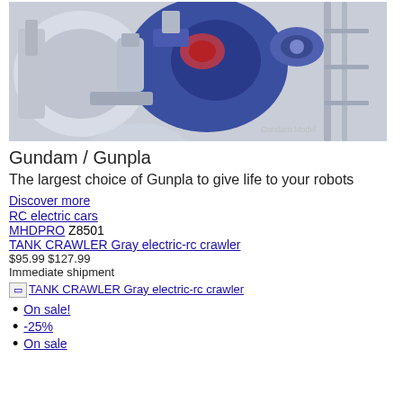[Figure (photo): Close-up photo of a Gundam / Gunpla model figure, showing detailed mecha parts in white and blue with a small pilot figure, set against a light background with scaffolding structures.]
Gundam / Gunpla
The largest choice of Gunpla to give life to your robots
Discover more
RC electric cars
MHDPRO Z8501
TANK CRAWLER Gray electric-rc crawler
$95.99 $127.99
Immediate shipment
[Figure (screenshot): Image placeholder for TANK CRAWLER Gray electric-rc crawler]
On sale!
-25%
On sale